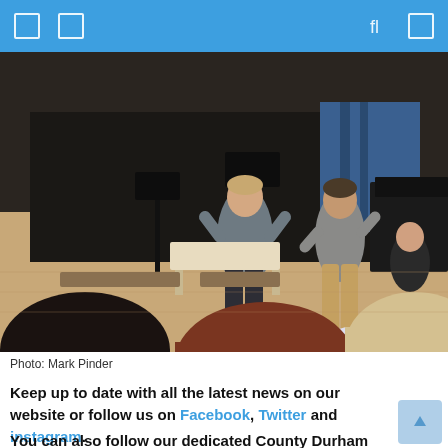[Figure (photo): Two young men standing in a hall or music room, one in grey shirt and dark jeans, one in beige khakis and grey top, with music stands and a piano visible; students watching from the foreground with backs to camera.]
Photo: Mark Pinder
Keep up to date with all the latest news on our website or follow us on Facebook, Twitter and instagram.
You can also follow our dedicated County Durham Facebook page